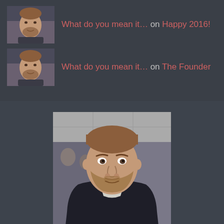What do you mean it… on Happy 2016!
What do you mean it… on The Founder
[Figure (photo): Profile photo of a man with short hair and a beard, wearing a dark jacket, photographed in an indoor setting with other people blurred in the background.]